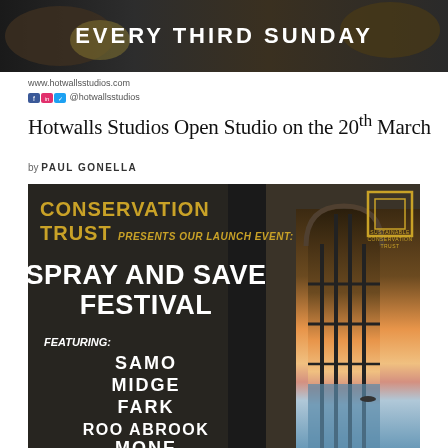[Figure (photo): Banner image with text 'EVERY THIRD SUNDAY' overlaid on a food/market photo]
www.hotwallsstudios.com
@hotwallsstudios
Hotwalls Studios Open Studio on the 20th March
by PAUL GONELLA
[Figure (infographic): Event poster for Conservation Trust Spray and Save Festival featuring artists SAMO, MIDGE, FARK, ROO ABROOK, MONE. Dark background with arch window showing sunset over sea.]